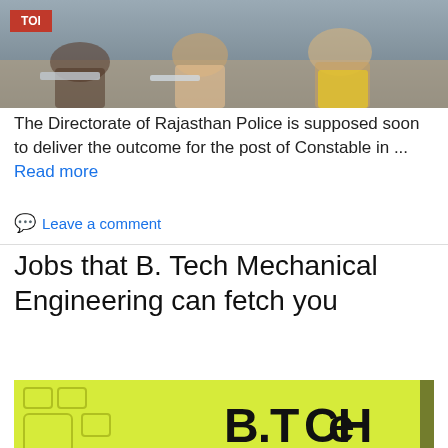[Figure (photo): Photo of students in a classroom, with TOI logo badge in top-left corner]
The Directorate of Rajasthan Police is supposed soon to deliver the outcome for the post of Constable in ... Read more
Leave a comment
Jobs that B. Tech Mechanical Engineering can fetch you
[Figure (illustration): B.TECH Engineering Enthusiasts promotional illustration on yellow-green background with WE'RE HIRING speech bubble, person with megaphone, and decorative rectangles]